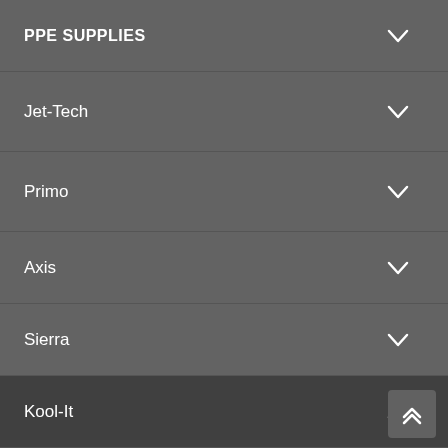PPE SUPPLIES
Jet-Tech
Primo
Axis
Sierra
Kool-It
Display Cases
Glass Door Coolers